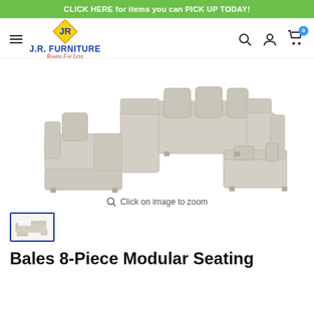CLICK HERE for items you can PICK UP TODAY!
[Figure (logo): J.R. Furniture logo with diamond shape, company name in blue, tagline 'Rooms For Less' in red italic]
[Figure (photo): Large modular sectional sofa in light beige/tan fabric arranged in U-shape configuration with chaise lounges and multiple back pillows]
Click on image to zoom
[Figure (photo): Thumbnail image of the same modular sectional sofa]
Bales 8-Piece Modular Seating